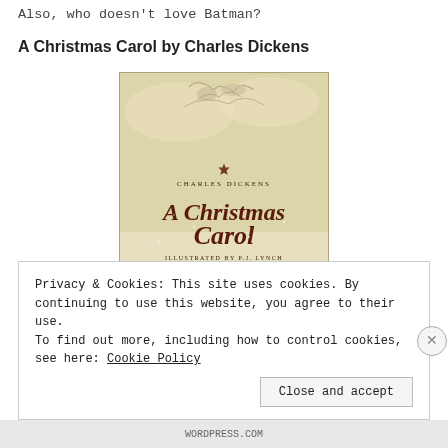Also, who doesn't love Batman?
A Christmas Carol by Charles Dickens
[Figure (illustration): Book cover of 'A Christmas Carol' by Charles Dickens, illustrated by P.J. Lynch. Features sketched angels or figures floating in the sky at the top, a decorative emblem in the center, large stylized script text 'A Christmas Carol', smaller text 'Charles Dickens' and 'Illustrated by P.J. Lynch', and snow-covered Victorian rooftops at the bottom. Warm sepia/cream tones.]
Privacy & Cookies: This site uses cookies. By continuing to use this website, you agree to their use. To find out more, including how to control cookies, see here: Cookie Policy
WORDPRESS.COM